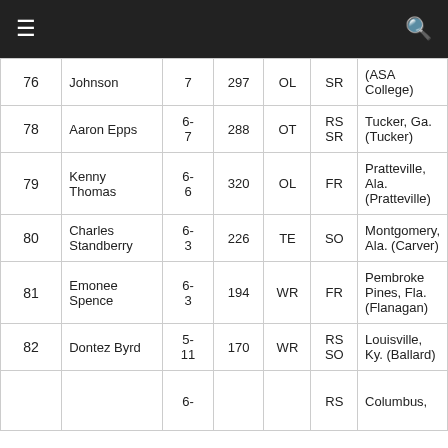≡  🔍
| # | Name | Ht | Wt | Pos | Yr | Hometown (School) |
| --- | --- | --- | --- | --- | --- | --- |
| 76 | Johnson | 7 | 297 | OL | SR | (ASA College) |
| 78 | Aaron Epps | 6-7 | 288 | OT | RS SR | Tucker, Ga. (Tucker) |
| 79 | Kenny Thomas | 6-6 | 320 | OL | FR | Pratteville, Ala. (Pratteville) |
| 80 | Charles Standberry | 6-3 | 226 | TE | SO | Montgomery, Ala. (Carver) |
| 81 | Emonee Spence | 6-3 | 194 | WR | FR | Pembroke Pines, Fla. (Flanagan) |
| 82 | Dontez Byrd | 5-11 | 170 | WR | RS SO | Louisville, Ky. (Ballard) |
|  |  | 6- |  |  | RS | Columbus, |